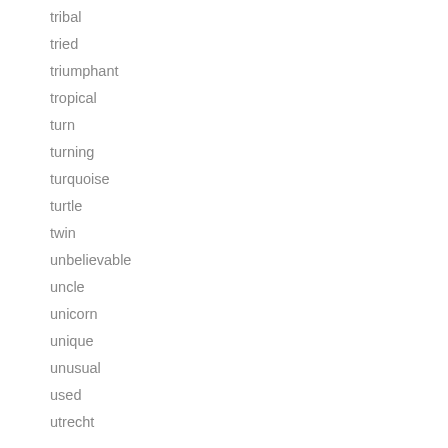tribal
tried
triumphant
tropical
turn
turning
turquoise
turtle
twin
unbelievable
uncle
unicorn
unique
unusual
used
utrecht